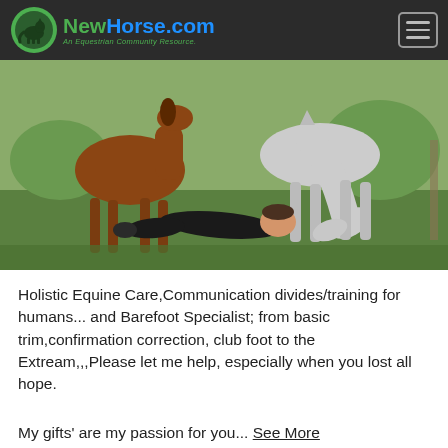NewHorse.com — An Equestrian Community Resource.
[Figure (photo): A person lying on green grass while two horses — one brown and one white/grey — lean down to nuzzle the person's face. The scene is outdoors in a grassy field.]
Holistic Equine Care,Communication divides/training for humans... and Barefoot Specialist; from basic trim,confirmation correction, club foot to the Extream,,,Please let me help, especially when you lost all hope.
My gifts' are my passion for you... See More